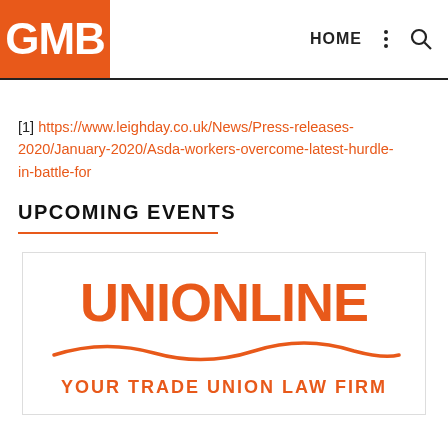GMB | HOME
[1] https://www.leighday.co.uk/News/Press-releases-2020/January-2020/Asda-workers-overcome-latest-hurdle-in-battle-for
UPCOMING EVENTS
[Figure (logo): Unionline - Your Trade Union Law Firm logo, orange text with a wave underline graphic]